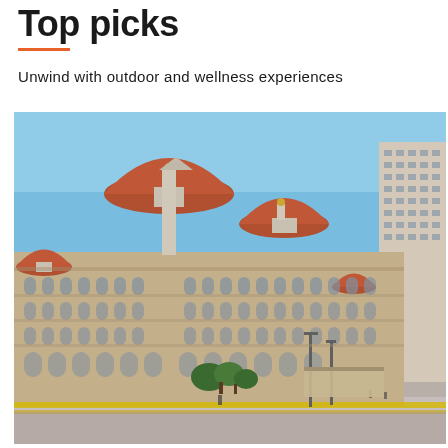Top picks
Unwind with outdoor and wellness experiences
[Figure (photo): Photograph of the Taj Mahal Palace Hotel in Mumbai, India. A grand historic building with ornate Indo-Saracenic architecture featuring large terracotta-colored domes, arched windows, decorative stonework, and multiple towers. Shot from street level under a clear blue sky. Yellow barriers visible in the foreground plaza.]